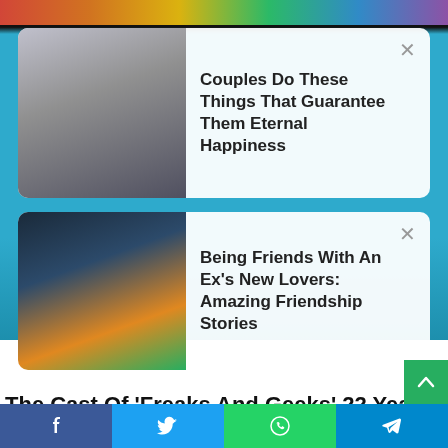[Figure (screenshot): Background: colorful person with Hawaiian shirt and rainbow wall background, partially visible]
Couples Do These Things That Guarantee Them Eternal Happiness
Being Friends With An Ex's New Lovers: Amazing Friendship Stories
The Cast Of 'Freaks And Geeks' 22 Years Later
BRAINBERRIES
[Figure (photo): Partial image of TV cast, dark background]
[Figure (infographic): Social share bar with Facebook, Twitter, WhatsApp, Telegram icons]